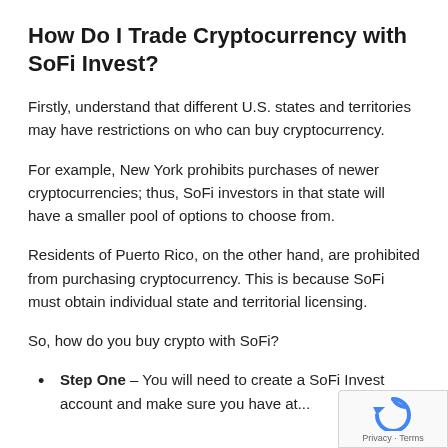How Do I Trade Cryptocurrency with SoFi Invest?
Firstly, understand that different U.S. states and territories may have restrictions on who can buy cryptocurrency.
For example, New York prohibits purchases of newer cryptocurrencies; thus, SoFi investors in that state will have a smaller pool of options to choose from.
Residents of Puerto Rico, on the other hand, are prohibited from purchasing cryptocurrency. This is because SoFi must obtain individual state and territorial licensing.
So, how do you buy crypto with SoFi?
Step One – You will need to create a SoFi Invest account and make sure you have at...